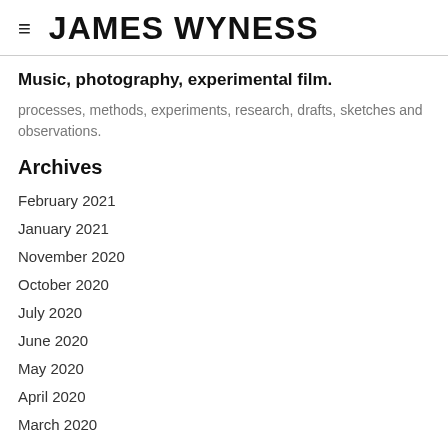JAMES WYNESS
Music, photography, experimental film.
processes, methods, experiments, research, drafts, sketches and observations.
Archives
February 2021
January 2021
November 2020
October 2020
July 2020
June 2020
May 2020
April 2020
March 2020
January 2020
December 2019
November 2019